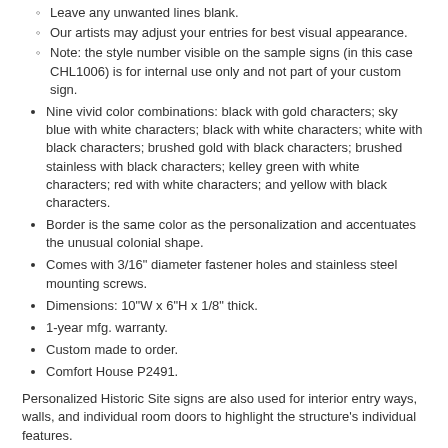Leave any unwanted lines blank.
Our artists may adjust your entries for best visual appearance.
Note: the style number visible on the sample signs (in this case CHL1006) is for internal use only and not part of your custom sign.
Nine vivid color combinations: black with gold characters; sky blue with white characters; black with white characters; white with black characters; brushed gold with black characters; brushed stainless with black characters; kelley green with white characters; red with white characters; and yellow with black characters.
Border is the same color as the personalization and accentuates the unusual colonial shape.
Comes with 3/16" diameter fastener holes and stainless steel mounting screws.
Dimensions: 10"W x 6"H x 1/8" thick.
1-year mfg. warranty.
Custom made to order.
Comfort House P2491.
Personalized Historic Site signs are also used for interior entry ways, walls, and individual room doors to highlight the structure's individual features.
Last small image above right submitted July 2019 by Curtis in Idaho who said "Thanks for making a fine sign for us." Note the color on this plaque is the brushed gold.
[Figure (infographic): Orange ribbon banner in top-left corner of a rounded white box with text 'YOU MAY ALSO LIKE']